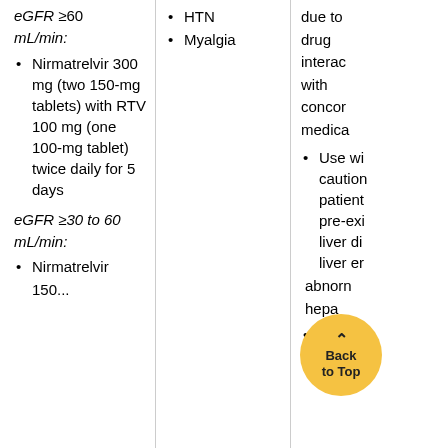eGFR ≥60 mL/min:
Nirmatrelvir 300 mg (two 150-mg tablets) with RTV 100 mg (one 100-mg tablet) twice daily for 5 days
eGFR ≥30 to 60 mL/min:
Nirmatrelvir
HTN
Myalgia
due to drug interac with concor medica
Use wi cautior patient pre-exi liver di liver er abnorn hepa
Consid